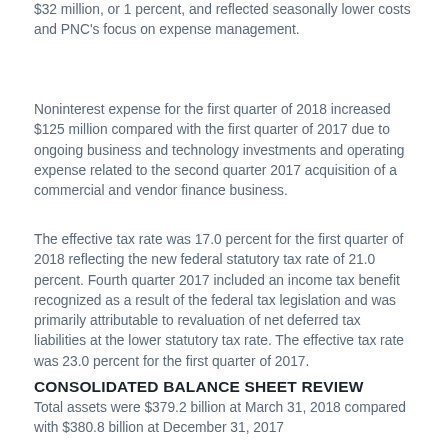$32 million, or 1 percent, and reflected seasonally lower costs and PNC's focus on expense management.
Noninterest expense for the first quarter of 2018 increased $125 million compared with the first quarter of 2017 due to ongoing business and technology investments and operating expense related to the second quarter 2017 acquisition of a commercial and vendor finance business.
The effective tax rate was 17.0 percent for the first quarter of 2018 reflecting the new federal statutory tax rate of 21.0 percent. Fourth quarter 2017 included an income tax benefit recognized as a result of the federal tax legislation and was primarily attributable to revaluation of net deferred tax liabilities at the lower statutory tax rate. The effective tax rate was 23.0 percent for the first quarter of 2017.
CONSOLIDATED BALANCE SHEET REVIEW
Total assets were $379.2 billion at March 31, 2018 compared with $380.8 billion at December 31, 2017